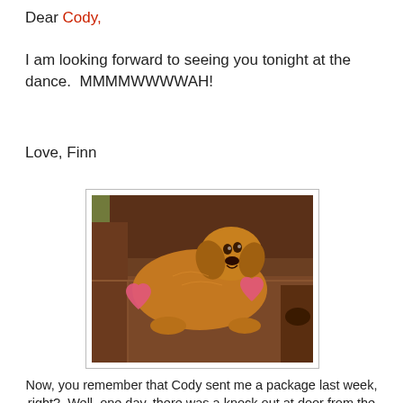Dear Cody,
I am looking forward to seeing you tonight at the dance.  MMMMWWWWAH!
Love, Finn
[Figure (photo): A golden retriever dog lying on a brown leather sofa/recliner, with two pink heart cutouts placed on either side of the dog's body.]
Now, you remember that Cody sent me a package last week, right?  Well, one day, there was a knock out at door from the postlady!  An EXPRESS mail delivery for meeee!